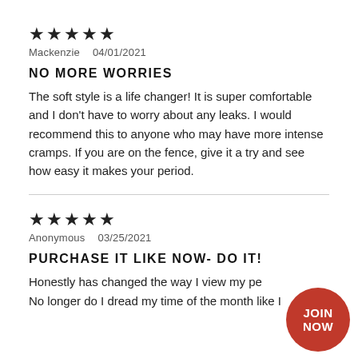★★★★★
Mackenzie   04/01/2021
NO MORE WORRIES
The soft style is a life changer! It is super comfortable and I don't have to worry about any leaks. I would recommend this to anyone who may have more intense cramps. If you are on the fence, give it a try and see how easy it makes your period.
★★★★★
Anonymous   03/25/2021
PURCHASE IT LIKE NOW- DO IT!
Honestly has changed the way I view my pe...
No longer do I dread my time of the month like I...
[Figure (other): Red circular badge with text JOIN NOW]